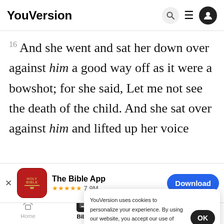YouVersion
16 And she went and sat her down over against him a good way off as it were a bowshot; for she said, Let me not see the death of the child. And she sat over against him and lifted up her voice
[Figure (screenshot): The Bible App install banner with Holy Bible icon, 5-star rating 7.9M reviews, and Download button]
an of God called to Hagar out of the
said un
God has heard the voice of the lad where he is.
YouVersion uses cookies to personalize your experience. By using our website, you accept our use of cookies as described in our Privacy Policy.
Home  Bible  Plans  Videos